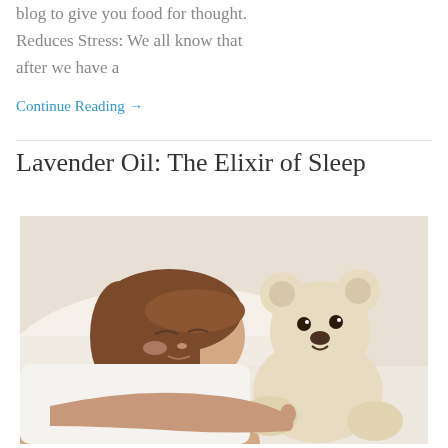blog to give you food for thought. Reduces Stress: We all know that after we have a
Continue Reading →
Lavender Oil: The Elixir of Sleep
[Figure (photo): A woman sleeping peacefully on a white pillow while hugging a plush teddy bear]